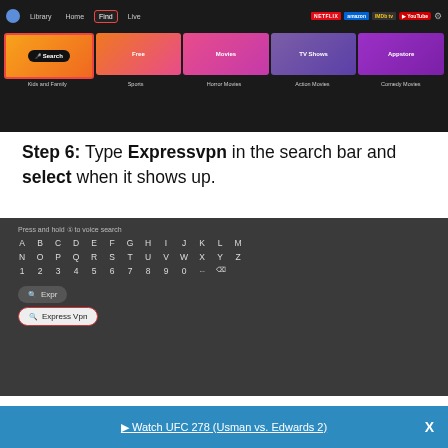[Figure (screenshot): Fire TV interface showing Find tab selected with navigation bar and tile grid including Search, Free, Movies, TV Shows, Appstore categories and row labels below]
Step 6: Type Expressvpn in the search bar and select when it shows up.
[Figure (screenshot): Dark Fire TV keyboard screen showing 'Press and hold to voice search', alphabetic keyboard, numeric row with backspace, and two search suggestions: 'Expr' and 'Express Vpn' (highlighted with red border)]
▶ Watch UFC 278 (Usman vs. Edwards 2)